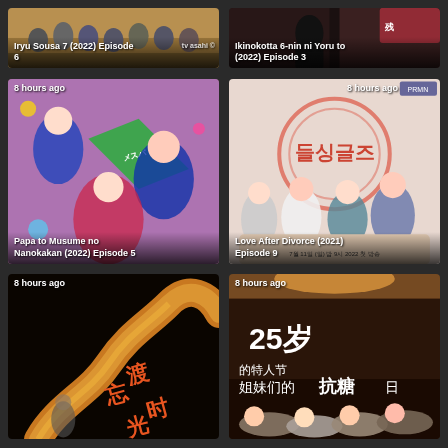[Figure (screenshot): Thumbnail for Iryu Sousa 7 (2022) Episode 6 - TV drama cast photo with text overlay]
Iryu Sousa 7 (2022) Episode 6
[Figure (screenshot): Thumbnail for Ikinokotta 6-nin ni Yoru to (2022) Episode 3]
Ikinokotta 6-nin ni Yoru to (2022) Episode 3
[Figure (screenshot): Thumbnail for Papa to Musume no Nanokakan (2022) Episode 5, 8 hours ago]
Papa to Musume no Nanokakan (2022) Episode 5
[Figure (screenshot): Thumbnail for Love After Divorce (2021) Episode 9, Korean drama poster with 4 people on couch]
Love After Divorce (2021) Episode 9
[Figure (screenshot): Thumbnail 8 hours ago - Chinese drama poster with snake/serpent imagery and Chinese characters]
[Figure (screenshot): Thumbnail 8 hours ago - Chinese drama 25岁的特人节 poster with people lying down]